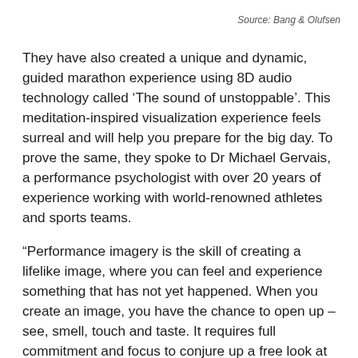Source: Bang & Olufsen
They have also created a unique and dynamic, guided marathon experience using 8D audio technology called ‘The sound of unstoppable’. This meditation-inspired visualization experience feels surreal and will help you prepare for the big day. To prove the same, they spoke to Dr Michael Gervais, a performance psychologist with over 20 years of experience working with world-renowned athletes and sports teams.
“Performance imagery is the skill of creating a lifelike image, where you can feel and experience something that has not yet happened. When you create an image, you have the chance to open up – see, smell, touch and taste. It requires full commitment and focus to conjure up a free look at a future event.” said Dr Gervais.